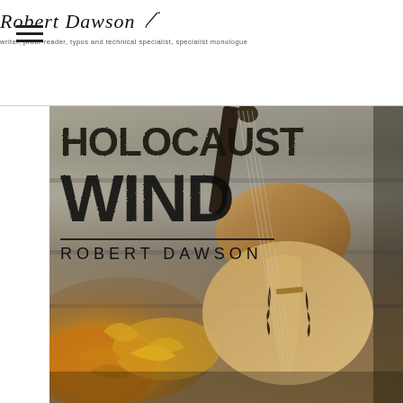Robert Dawson — writer, proof-reader, typos and technical specialist, specialist monologue
[Figure (photo): Book cover for 'Holocaust Wind' by Robert Dawson. Large bold distressed text reads 'HOLOCAUST WIND' over a photograph of a violin lying on stone steps surrounded by autumn leaves. Author name 'ROBERT DAWSON' appears below a horizontal rule in spaced uppercase letters.]